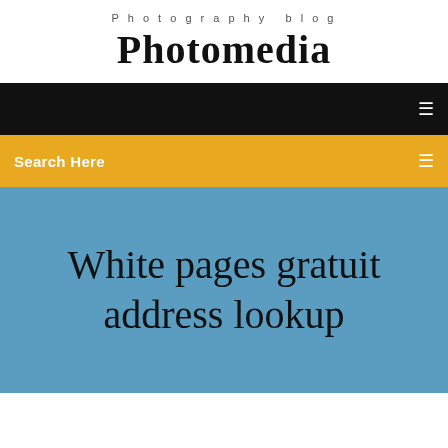Photography blog
Photomedia
Search Here
White pages gratuit address lookup